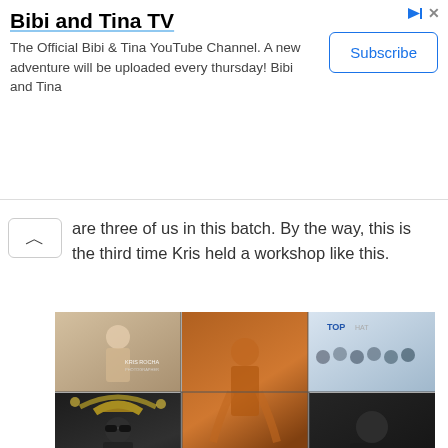[Figure (other): Ad banner for Bibi and Tina TV YouTube channel with Subscribe button and close/play icons]
Bibi and Tina TV
The Official Bibi & Tina YouTube Channel. A new adventure will be uploaded every thursday! Bibi and Tina
are three of us in this batch. By the way, this is the third time Kris held a workshop like this.
[Figure (photo): Photo collage of concert and performance images featuring Kris Rocha photography, including performers on stage, group photos with TOP HAT signage, and black and white concert images]